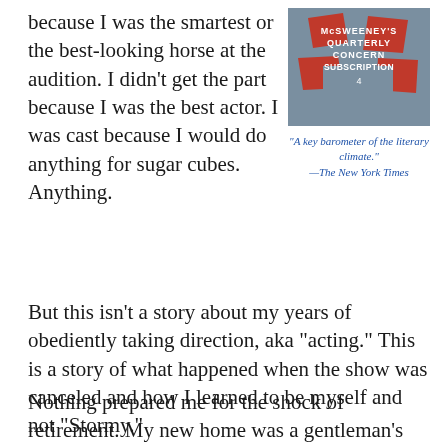because I was the smartest or the best-looking horse at the audition. I didn't get the part because I was the best actor. I was cast because I would do anything for sugar cubes. Anything.
[Figure (illustration): McSweeney's Quarterly Concern Subscription book/magazine cover with red illustrated figures on a grey-blue background]
“A key barometer of the literary climate.” —The New York Times
But this isn’t a story about my years of obediently taking direction, aka “acting.” This is a story of what happened when the show was canceled and how I learned to be myself and not “Stormy.”
Nothing prepared me for the shock of retirement. My new home was a gentleman’s ranch outside of